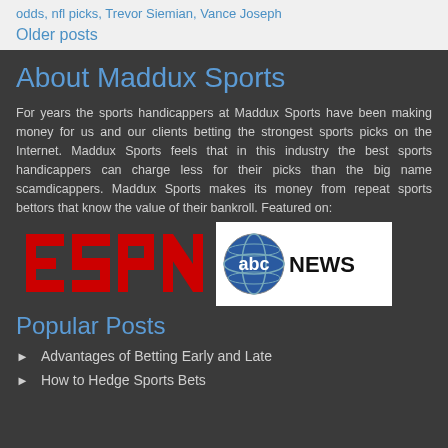odds, nfl picks, Trevor Siemian, Vance Joseph
Older posts
About Maddux Sports
For years the sports handicappers at Maddux Sports have been making money for us and our clients betting the strongest sports picks on the Internet. Maddux Sports feels that in this industry the best sports handicappers can charge less for their picks than the big name scamdicappers. Maddux Sports makes its money from repeat sports bettors that know the value of their bankroll. Featured on:
[Figure (logo): ESPN logo in red and white]
[Figure (logo): ABC News logo with globe and text]
Popular Posts
Advantages of Betting Early and Late
How to Hedge Sports Bets